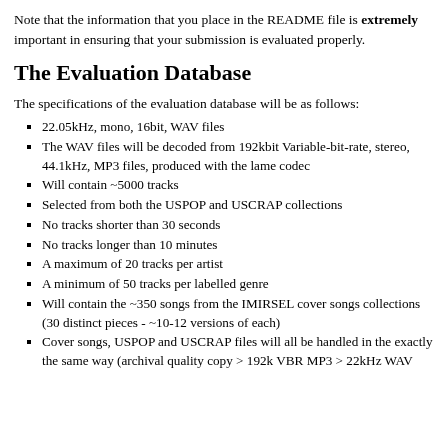Note that the information that you place in the README file is extremely important in ensuring that your submission is evaluated properly.
The Evaluation Database
The specifications of the evaluation database will be as follows:
22.05kHz, mono, 16bit, WAV files
The WAV files will be decoded from 192kbit Variable-bit-rate, stereo, 44.1kHz, MP3 files, produced with the lame codec
Will contain ~5000 tracks
Selected from both the USPOP and USCRAP collections
No tracks shorter than 30 seconds
No tracks longer than 10 minutes
A maximum of 20 tracks per artist
A minimum of 50 tracks per labelled genre
Will contain the ~350 songs from the IMIRSEL cover songs collections (30 distinct pieces - ~10-12 versions of each)
Cover songs, USPOP and USCRAP files will all be handled in the exactly the same way (archival quality copy > 192k VBR MP3 > 22kHz WAV